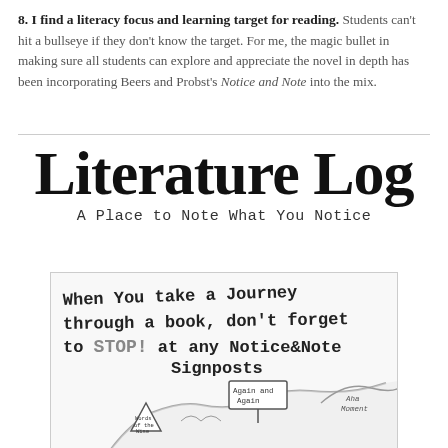8. I find a literacy focus and learning target for reading. Students can't hit a bullseye if they don't know the target. For me, the magic bullet in making sure all students can explore and appreciate the novel in depth has been incorporating Beers and Probst's Notice and Note into the mix.
Literature Log
A Place to Note What You Notice
[Figure (illustration): Hand-drawn illustration showing a winding road with signposts labeled 'Again and Again', 'Words of the Wise', and 'Aha Moment'. Text reads: When you take a Journey through a book, don't forget to STOP! at any Notice & Note Signposts]